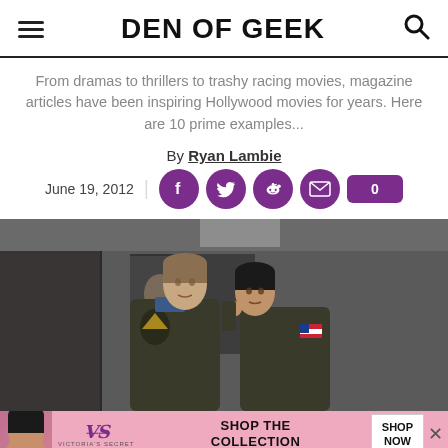DEN OF GEEK
From dramas to thrillers to trashy racing movies, magazine articles have been inspiring Hollywood movies for years. Here are 10 prime examples...
By Ryan Lambie
June 19, 2012
[Figure (photo): Two men in military flight jackets facing each other closely, appearing to be in a confrontation in a locker room setting. A third person is visible in the background. Scene from Top Gun (1986).]
[Figure (photo): Victoria's Secret advertisement banner with a model, VS logo, text 'SHOP THE COLLECTION', and a 'SHOP NOW' button.]